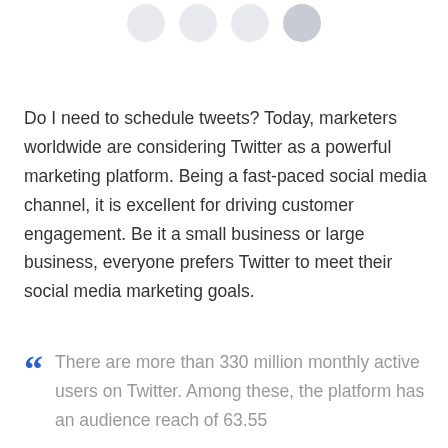[Figure (other): Row of four circular icon buttons at the top of the page, light gray/blue tinted circles]
Do I need to schedule tweets? Today, marketers worldwide are considering Twitter as a powerful marketing platform. Being a fast-paced social media channel, it is excellent for driving customer engagement. Be it a small business or large business, everyone prefers Twitter to meet their social media marketing goals.
There are more than 330 million monthly active users on Twitter. Among these, the platform has an audience reach of 63.55...